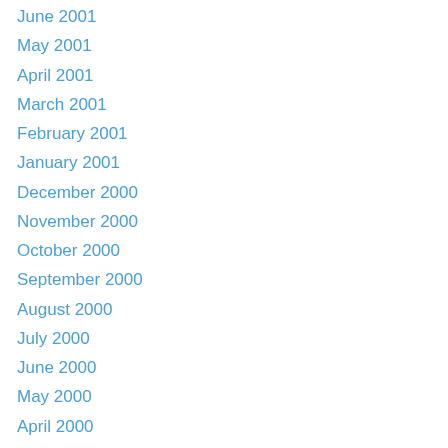June 2001
May 2001
April 2001
March 2001
February 2001
January 2001
December 2000
November 2000
October 2000
September 2000
August 2000
July 2000
June 2000
May 2000
April 2000
March 2000
February 2000
January 2000
December 1999
November 1999